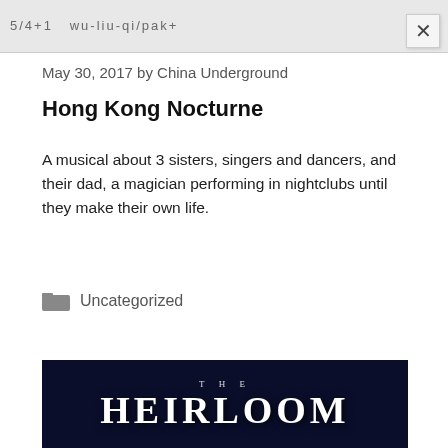5/4+1 wu-liu-qi/pak+
May 30, 2017 by China Underground
Hong Kong Nocturne
A musical about 3 sisters, singers and dancers, and their dad, a magician performing in nightclubs until they make their own life.
Uncategorized
[Figure (photo): Dark movie poster with large white serif text reading 'THE HEIRLOOM' against a dark blue/black background]